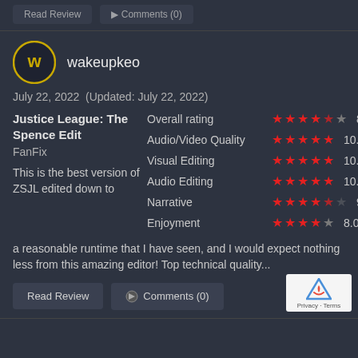Read Review | Comments (0) [top bar buttons]
wakeupkeo
July 22, 2022  (Updated: July 22, 2022)
Justice League: The Spence Edit
FanFix
This is the best version of ZSJL edited down to a reasonable runtime that I have seen, and I would expect nothing less from this amazing editor! Top technical quality...
| Category | Stars | Score |
| --- | --- | --- |
| Overall rating | ★★★★½ | 8.8 |
| Audio/Video Quality | ★★★★★ | 10.0 |
| Visual Editing | ★★★★★ | 10.0 |
| Audio Editing | ★★★★★ | 10.0 |
| Narrative | ★★★★½ | 9.0 |
| Enjoyment | ★★★★☆ | 8.0 |
Read Review
Comments (0)